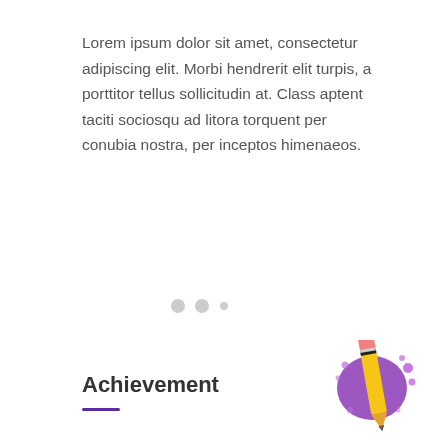Lorem ipsum dolor sit amet, consectetur adipiscing elit. Morbi hendrerit elit turpis, a porttitor tellus sollicitudin at. Class aptent taciti sociosqu ad litora torquent per conubia nostra, per inceptos himenaeos.
[Figure (other): Three pagination dots: two filled light gray circles and one smaller dot]
Achievement
[Figure (illustration): A pencil emoji illustration with a yellow pencil, pink eraser, black tip, and purple ink splatter behind it]